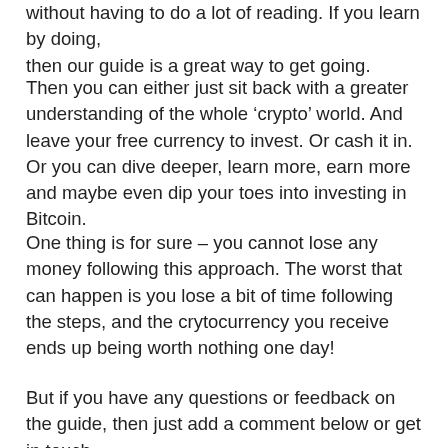without having to do a lot of reading. If you learn by doing, then our guide is a great way to get going.
Then you can either just sit back with a greater understanding of the whole ‘crypto’ world. And leave your free currency to invest. Or cash it in. Or you can dive deeper, learn more, earn more and maybe even dip your toes into investing in Bitcoin.
One thing is for sure – you cannot lose any money following this approach. The worst that can happen is you lose a bit of time following the steps, and the crytocurrency you receive ends up being worth nothing one day!
But if you have any questions or feedback on the guide, then just add a comment below or get in touch.
Posted: October 29th, 2019